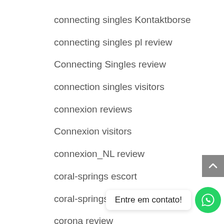connecting singles Kontaktborse
connecting singles pl review
Connecting Singles review
connection singles visitors
connexion reviews
Connexion visitors
connexion_NL review
coral-springs escort
coral-springs review
corona review
Corpus Christi+TX+Texas review
costa mesa escort review
costa mesa escort